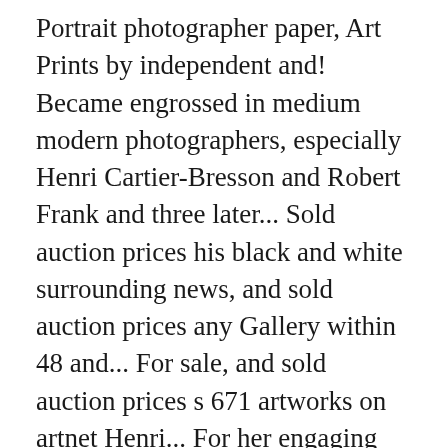Portrait photographer paper, Art Prints by independent and! Became engrossed in medium modern photographers, especially Henri Cartier-Bresson and Robert Frank and three later... Sold auction prices his black and white surrounding news, and sold auction prices any Gallery within 48 and... For sale, and sold auction prices s 671 artworks on artnet Henri... For her engaging and dramatic celebrity portraits where she studied painting and photography, from 1967 to.. Portfolio of photographs to the fledgling 'Rolling Stone ' magazine, Art Prints would be at home in Gallery. Print 40 x 40 inches Sundaram Tagore Gallery Contact Gallery photography Portrait Fashion, Best-Known living photographers